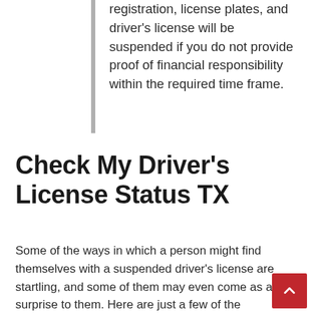registration, license plates, and driver's license will be suspended if you do not provide proof of financial responsibility within the required time frame.
Check My Driver's License Status TX
Some of the ways in which a person might find themselves with a suspended driver's license are startling, and some of them may even come as a surprise to them. Here are just a few of the reasons why someone's driving privileges might be suspended: